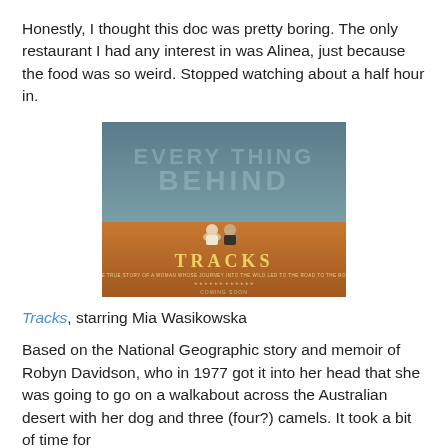Honestly, I thought this doc was pretty boring. The only restaurant I had any interest in was Alinea, just because the food was so weird. Stopped watching about a half hour in.
[Figure (photo): Movie poster for 'Tracks' showing two people sitting together on orange desert sand with teal/grey cloudy sky background and large text 'EVERYTHING BEHIND' faded in the background. The word TRACKS is prominently displayed in white/gold lettering at the bottom center.]
Tracks, starring Mia Wasikowska
Based on the National Geographic story and memoir of Robyn Davidson, who in 1977 got it into her head that she was going to go on a walkabout across the Australian desert with her dog and three (four?) camels. It took a bit of time for